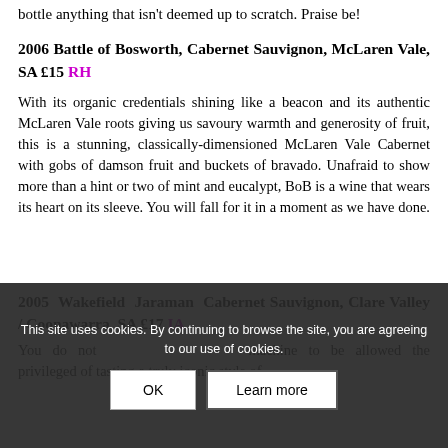bottle anything that isn't deemed up to scratch. Praise be!
2006 Battle of Bosworth, Cabernet Sauvignon, McLaren Vale, SA £15 RH
With its organic credentials shining like a beacon and its authentic McLaren Vale roots giving us savoury warmth and generosity of fruit, this is a stunning, classically-dimensioned McLaren Vale Cabernet with gobs of damson fruit and buckets of bravado. Unafraid to show more than a hint or two of mint and eucalypt, BoB is a wine that wears its heart on its sleeve. You will fall for it in a moment as we have done.
2005 Wakefield Jaraman Cabernet Sauvignon, Clare Valley / Coonawarra, SA £17 IA
You do not machine to be allowed the privileged of tasting a truly iconic style of
This site uses cookies. By continuing to browse the site, you are agreeing to our use of cookies.